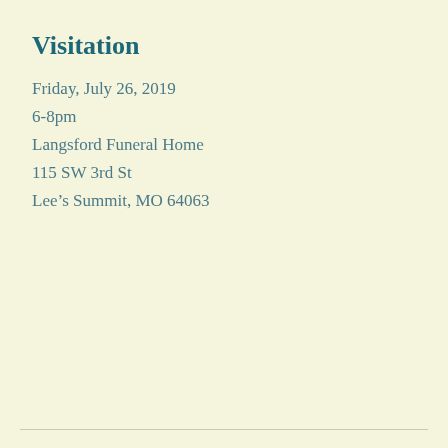Visitation
Friday, July 26, 2019
6-8pm
Langsford Funeral Home
115 SW 3rd St
Lee’s Summit, MO 64063